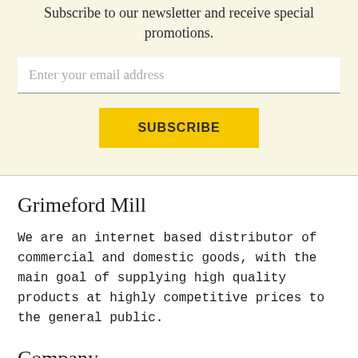Subscribe to our newsletter and receive special promotions.
Enter your email address
SUBSCRIBE
Grimeford Mill
We are an internet based distributor of commercial and domestic goods, with the main goal of supplying high quality products at highly competitive prices to the general public.
Company
About